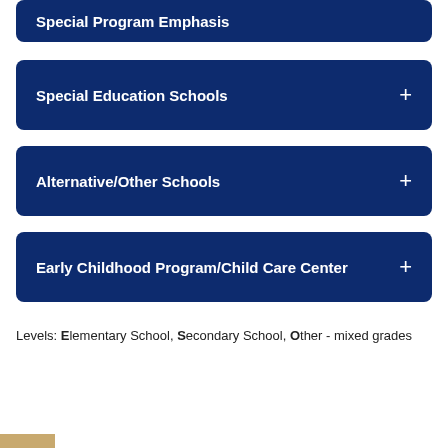Special Program Emphasis
Special Education Schools
Alternative/Other Schools
Early Childhood Program/Child Care Center
Levels: Elementary School, Secondary School, Other - mixed grades